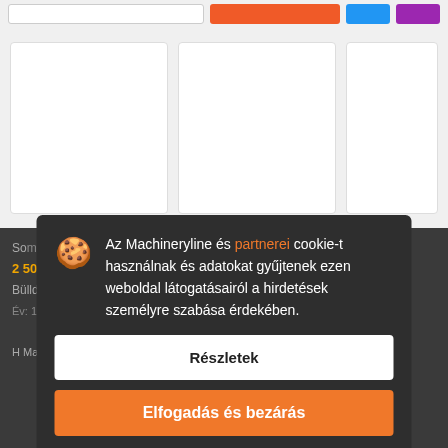[Figure (screenshot): Top navigation bar with search box, orange button, blue button, purple button]
[Figure (screenshot): Three white card placeholders in a light grey area]
[Figure (screenshot): Cookie consent overlay on dark background with cookie emoji icon, text in Hungarian, Részletek button, and Elfogadás és bezárás button]
Az Machineryline és partnerei cookie-t használnak és adatokat gyűjtenek ezen weboldal látogatásairól a hirdetések személyre szabása érdekében.
Részletek
Elfogadás és bezárás